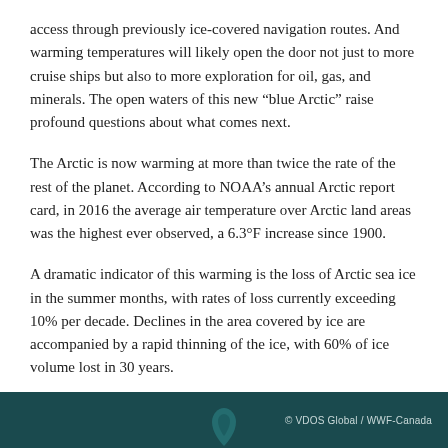access through previously ice-covered navigation routes. And warming temperatures will likely open the door not just to more cruise ships but also to more exploration for oil, gas, and minerals. The open waters of this new “blue Arctic” raise profound questions about what comes next.
The Arctic is now warming at more than twice the rate of the rest of the planet. According to NOAA’s annual Arctic report card, in 2016 the average air temperature over Arctic land areas was the highest ever observed, a 6.3°F increase since 1900.
A dramatic indicator of this warming is the loss of Arctic sea ice in the summer months, with rates of loss currently exceeding 10% per decade. Declines in the area covered by ice are accompanied by a rapid thinning of the ice, with 60% of ice volume lost in 30 years.
© VDOS Global / WWF-Canada